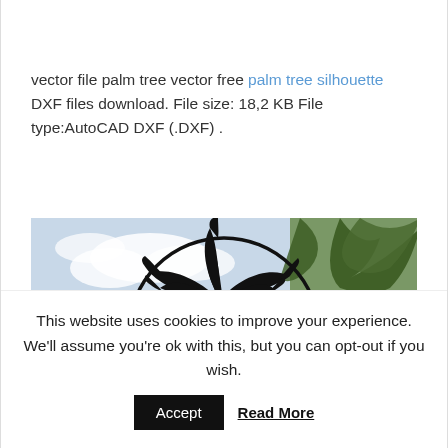vector file palm tree vector free palm tree silhouette DXF files download. File size: 18,2 KB File type:AutoCAD DXF (.DXF) .
[Figure (illustration): Palm tree silhouette inside a circle/crosshair design, with a real photo of palm trees on the right side background.]
This website uses cookies to improve your experience. We'll assume you're ok with this, but you can opt-out if you wish.